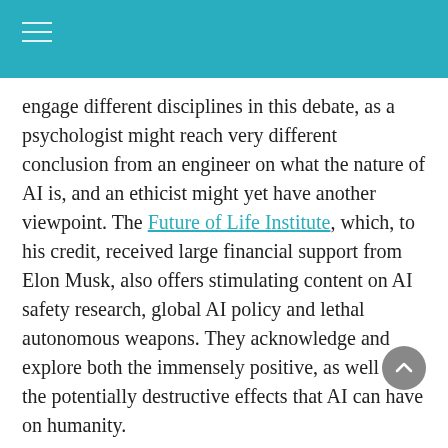engage different disciplines in this debate, as a psychologist might reach very different conclusion from an engineer on what the nature of AI is, and an ethicist might yet have another viewpoint. The Future of Life Institute, which, to his credit, received large financial support from Elon Musk, also offers stimulating content on AI safety research, global AI policy and lethal autonomous weapons. They acknowledge and explore both the immensely positive, as well as the potentially destructive effects that AI can have on humanity.
The most promising AI strategy to address these